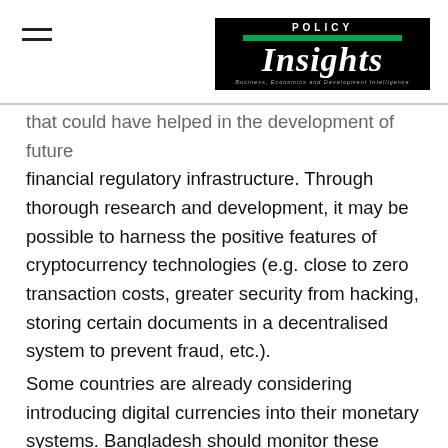POLICY INSIGHTS
that could have helped in the development of future financial regulatory infrastructure. Through thorough research and development, it may be possible to harness the positive features of cryptocurrency technologies (e.g. close to zero transaction costs, greater security from hacking, storing certain documents in a decentralised system to prevent fraud, etc.).
Some countries are already considering introducing digital currencies into their monetary systems. Bangladesh should monitor these developments closely in order to be able to understand and benefit from the potential implications of these initiatives